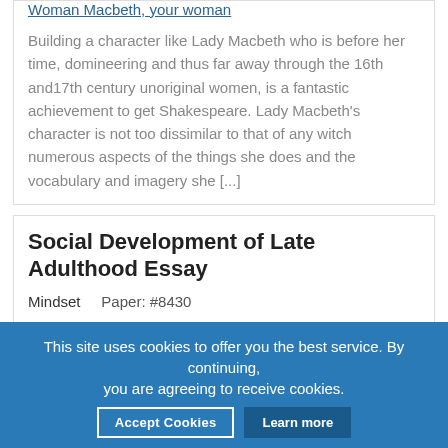Woman Macbeth, your woman
Building a character like Lady Macbeth who is before her time, domineering and thus far away through the 16th and17th century unoriginal women, is a fantastic achievement to get Shakespeare. Lady Macbeth's character is not too dissimilar to that of any witch numerous aspects of the things she does and the vocabulary and imagery she [...]
Social Development of Late Adulthood Essay
Mindset    Paper: #8430
Topics: adult life, adulthood, development, Development Adulthood, labor force, late, late adulthood, older adults,
This site uses cookies to offer you the best service. By continuing, you are agreeing to receive cookies.